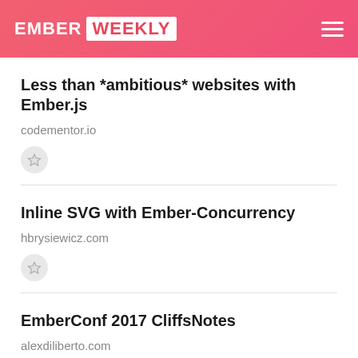EMBER WEEKLY
Less than *ambitious* websites with Ember.js
codementor.io
Inline SVG with Ember-Concurrency
hbrysiewicz.com
EmberConf 2017 CliffsNotes
alexdiliberto.com